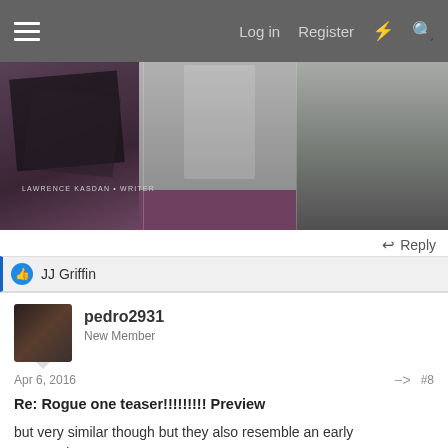Log in  Register
[Figure (photo): Film/concept art collage banner with stormtrooper and landscape scenes. Text overlay: LAWRENCE KASDAN - WRITER]
Reply
JJ Griffin
pedro2931
New Member
Apr 6, 2016  #8
Re: Rogue one teaser!!!!!!!!! Preview
but very similar though but they also resemble an early maquarrie concept too